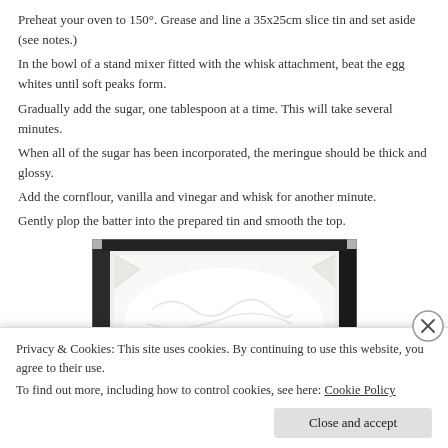Preheat your oven to 150°. Grease and line a 35x25cm slice tin and set aside (see notes.)
In the bowl of a stand mixer fitted with the whisk attachment, beat the egg whites until soft peaks form.
Gradually add the sugar, one tablespoon at a time. This will take several minutes.
When all of the sugar has been incorporated, the meringue should be thick and glossy.
Add the cornflour, vanilla and vinegar and whisk for another minute.
Gently plop the batter into the prepared tin and smooth the top.
[Figure (photo): A baking tin lined with parchment paper filled with white meringue batter smoothed on top, photographed from above on a light surface.]
Privacy & Cookies: This site uses cookies. By continuing to use this website, you agree to their use.
To find out more, including how to control cookies, see here: Cookie Policy